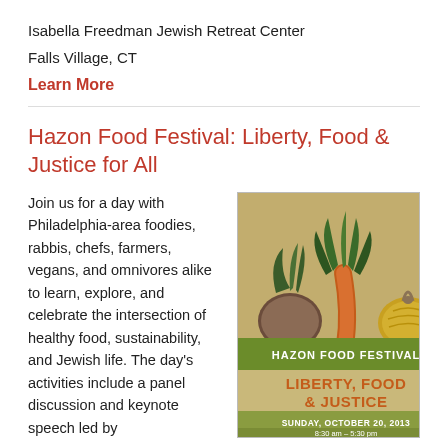Isabella Freedman Jewish Retreat Center
Falls Village, CT
Learn More
Hazon Food Festival: Liberty, Food & Justice for All
Join us for a day with Philadelphia-area foodies, rabbis, chefs, farmers, vegans, and omnivores alike to learn, explore, and celebrate the intersection of healthy food, sustainability, and Jewish life. The day's activities include a panel discussion and keynote speech led by
[Figure (illustration): Hazon Food Festival poster showing illustrated vegetables (carrot, beet, onion, herbs) with text 'HAZON FOOD FESTIVAL LIBERTY, FOOD & JUSTICE For all SUNDAY, OCTOBER 20, 2013 8:30 am - 5:30 pm' on a vintage tan/parchment background with olive green banner.]